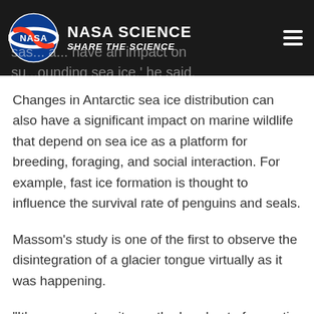NASA SCIENCE
SHARE THE SCIENCE
sas... a... have an impact on su...ounding sea ice,' he said.
Changes in Antarctic sea ice distribution can also have a significant impact on marine wildlife that depend on sea ice as a platform for breeding, foraging, and social interaction. For example, fast ice formation is thought to influence the survival rate of penguins and seals.
Massom's study is one of the first to observe the disintegration of a glacier tongue virtually as it was happening.
"It's very rare to witness the breakout of an entire glacier tongue," he said, "and it caused a large